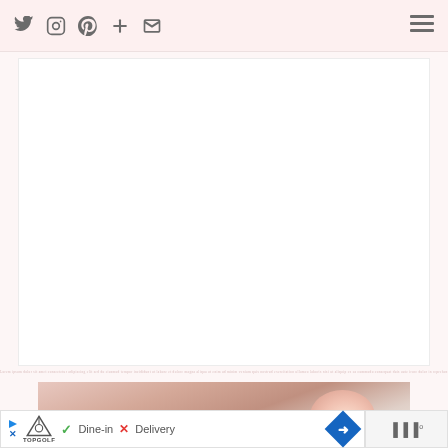Social media navigation bar with Twitter, Instagram, Pinterest, Plus, Email icons and hamburger menu
[Figure (photo): Large white/blank content area placeholder]
[Figure (photo): Close-up photo of a person's hand/fingernail, skin tones in pink and beige]
[Figure (screenshot): Bottom ad bar with TopGolf logo, Dine-in checkmark, Delivery X, navigation arrow icon, and audio bars icon]